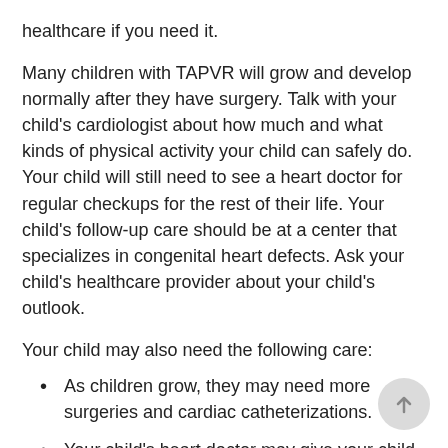healthcare if you need it.
Many children with TAPVR will grow and develop normally after they have surgery. Talk with your child's cardiologist about how much and what kinds of physical activity your child can safely do. Your child will still need to see a heart doctor for regular checkups for the rest of their life. Your child's follow-up care should be at a center that specializes in congenital heart defects. Ask your child's healthcare provider about your child's outlook.
Your child may also need the following care:
As children grow, they may need more surgeries and cardiac catheterizations.
Your child's heart doctor may give your child antibiotics before surgeries or dental procedures. This is to prevent infections. But this often isn't needed.